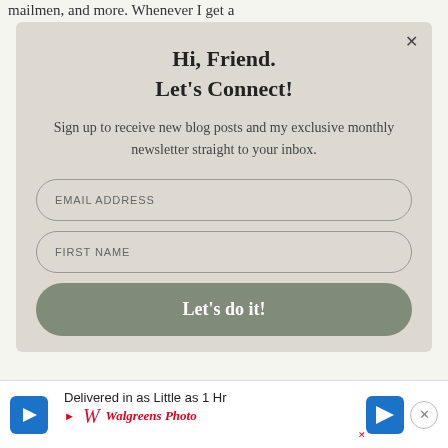mailmen, and more. Whenever I get a
Hi, Friend.
Let's Connect!
Sign up to receive new blog posts and my exclusive monthly newsletter straight to your inbox.
EMAIL ADDRESS
FIRST NAME
Let's do it!
Delivered in as Little as 1 Hr
Walgreens Photo